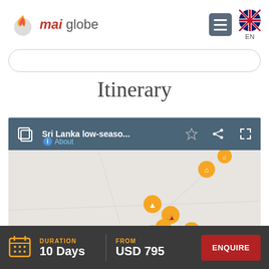[Figure (logo): Mai Globe travel company logo with orange flame/globe graphic, text 'mai globe' in red and grey]
[Figure (screenshot): Mobile app screenshot showing itinerary map view of Sri Lanka low-season tour with orange map pins connected by white lines, toolbar showing 'Sri Lanka low-seaso...' title and About link]
Itinerary
Sri Lanka low-seaso... About
DURATION 10 Days
FROM USD 795
ENQUIRE